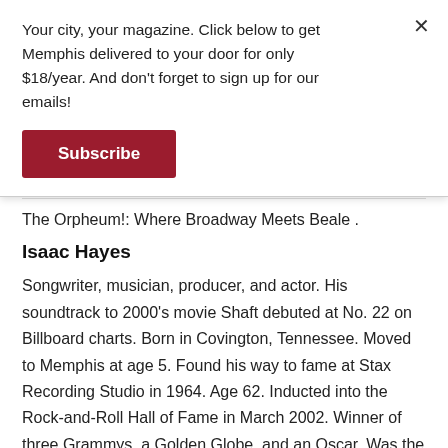Your city, your magazine. Click below to get Memphis delivered to your door for only $18/year. And don't forget to sign up for our emails!
Subscribe
The Orpheum!: Where Broadway Meets Beale .
Isaac Hayes
Songwriter, musician, producer, and actor. His soundtrack to 2000's movie Shaft debuted at No. 22 on Billboard charts. Born in Covington, Tennessee. Moved to Memphis at age 5. Found his way to fame at Stax Recording Studio in 1964. Age 62. Inducted into the Rock-and-Roll Hall of Fame in March 2002. Winner of three Grammys, a Golden Globe, and an Oscar. Was the voice of Chef in Comedy Central's South Park. Founded the Isaac Hayes Foundation